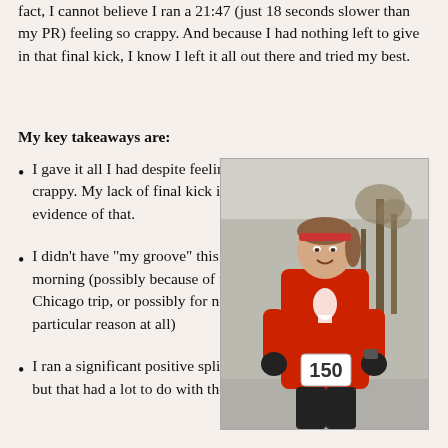fact, I cannot believe I ran a 21:47 (just 18 seconds slower than my PR) feeling so crappy. And because I had nothing left to give in that final kick, I know I left it all out there and tried my best.
My key takeaways are:
I gave it all I had despite feeling crappy. My lack of final kick is evidence of that.
I didn't have "my groove" this morning (possibly because of my Chicago trip, or possibly for no particular reason at all)
I ran a significant positive split, but that had a lot to do with the
[Figure (photo): A female runner wearing a red long-sleeve shirt with a Capitol building logo, race bib number 150, black gloves, and a headband, running outdoors on a road with bare trees in the background.]